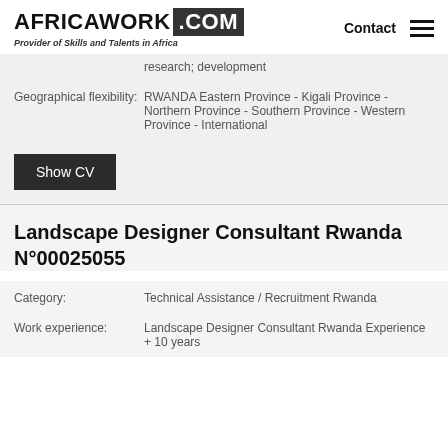AFRICAWORK .COM Provider of Skills and Talents in Africa | Contact
research; development
Geographical flexibility: RWANDA Eastern Province - Kigali Province - Northern Province - Southern Province - Western Province - International
Show CV
Landscape Designer Consultant Rwanda N°00025055
Category: Technical Assistance / Recruitment Rwanda
Work experience: Landscape Designer Consultant Rwanda Experience + 10 years